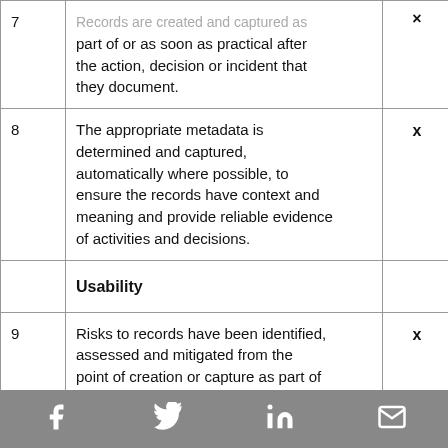|  |  | × | × |
| --- | --- | --- | --- |
| 7 | Records are created and captured as part of or as soon as practical after the action, decision or incident that they document. | × | × |
| 8 | The appropriate metadata is determined and captured, automatically where possible, to ensure the records have context and meaning and provide reliable evidence of activities and decisions. | × | × |
|  | Usability |  |  |
| 9 | Risks to records have been identified, assessed and mitigated from the point of creation or capture as part of the agency's overall risk management | × | × |
f  [twitter]  in  [mail]